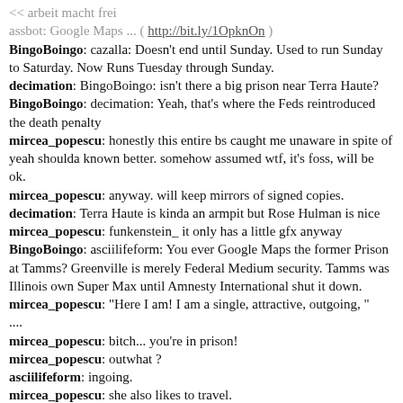<< arbeit macht frei
assbot: Google Maps ... ( http://bit.ly/1OpknOn )
BingoBoingo: cazalla: Doesn't end until Sunday. Used to run Sunday to Saturday. Now Runs Tuesday through Sunday.
decimation: BingoBoingo: isn't there a big prison near Terra Haute?
BingoBoingo: decimation: Yeah, that's where the Feds reintroduced the death penalty
mircea_popescu: honestly this entire bs caught me unaware in spite of yeah shoulda known better. somehow assumed wtf, it's foss, will be ok.
mircea_popescu: anyway. will keep mirrors of signed copies.
decimation: Terra Haute is kinda an armpit but Rose Hulman is nice
mircea_popescu: funkenstein_ it only has a little gfx anyway
BingoBoingo: asciilifeform: You ever Google Maps the former Prison at Tamms? Greenville is merely Federal Medium security. Tamms was Illinois own Super Max until Amnesty International shut it down.
mircea_popescu: "Here I am! I am a single, attractive, outgoing, "
....
mircea_popescu: bitch... you're in prison!
mircea_popescu: outwhat ?
asciilifeform: ingoing.
mircea_popescu: she also likes to travel.